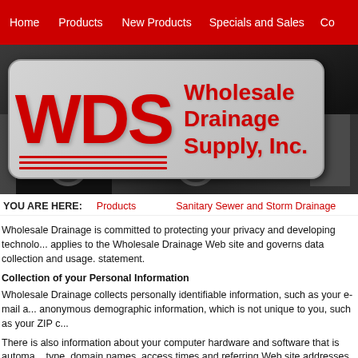Home   Products   New Products   Specials and Sales   Co...
[Figure (logo): WDS Wholesale Drainage Supply, Inc. logo on grey rounded rectangle background, over a dark truck image]
YOU ARE HERE:   Products   Sanitary Sewer and Storm Drainage
Wholesale Drainage is committed to protecting your privacy and developing technolo... applies to the Wholesale Drainage Web site and governs data collection and usage. statement.
Collection of your Personal Information
Wholesale Drainage collects personally identifiable information, such as your e-mail a... anonymous demographic information, which is not unique to you, such as your ZIP c...
There is also information about your computer hardware and software that is automa... type, domain names, access times and referring Web site addresses. This informatio... service, and to provide general statistics regarding use of the Wholesale Drainage W...